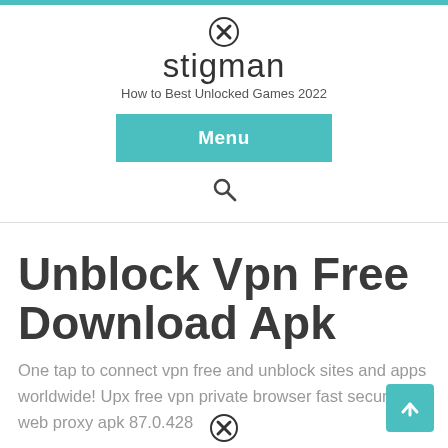stigman
How to Best Unlocked Games 2022
Menu
Unblock Vpn Free Download Apk
One tap to connect vpn free and unblock sites and apps worldwide! Upx free vpn private browser fast secure web proxy apk 87.0.428